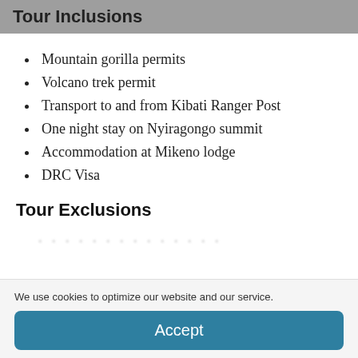Tour Inclusions
Mountain gorilla permits
Volcano trek permit
Transport to and from Kibati Ranger Post
One night stay on Nyiragongo summit
Accommodation at Mikeno lodge
DRC Visa
Tour Exclusions
We use cookies to optimize our website and our service.
Accept